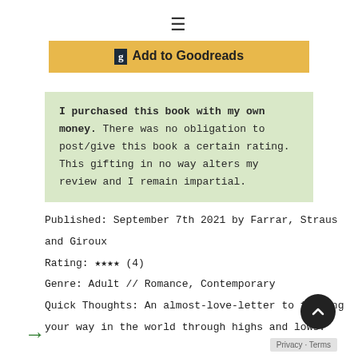≡
[Figure (other): Add to Goodreads button with Goodreads 'g' icon, gold/yellow background]
I purchased this book with my own money. There was no obligation to post/give this book a certain rating. This gifting in no way alters my review and I remain impartial.
Published: September 7th 2021 by Farrar, Straus and Giroux
Rating: ★★★★ (4)
Genre: Adult // Romance, Contemporary
Quick Thoughts: An almost-love-letter to finding your way in the world through highs and lows.